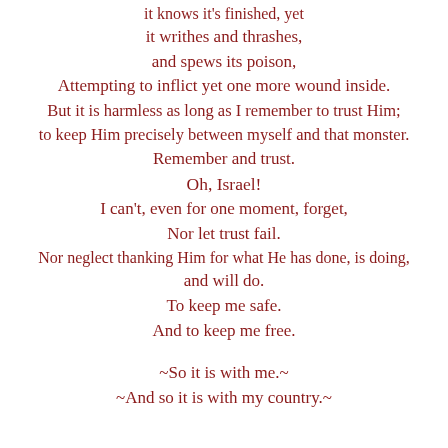it knows it's finished, yet
it writhes and thrashes,
and spews its poison,
Attempting to inflict yet one more wound inside.
But it is harmless as long as I remember to trust Him;
to keep Him precisely between myself and that monster.
Remember and trust.
Oh, Israel!
I can't, even for one moment, forget,
Nor let trust fail.
Nor neglect thanking Him for what He has done, is doing,
and will do.
To keep me safe.
And to keep me free.

~So it is with me.~
~And so it is with my country.~